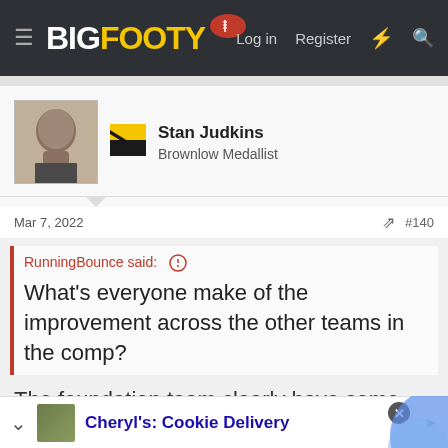BigFooty — Log in  Register
Stan Judkins
Brownlow Medallist
Mar 7, 2022  #140
RunningBounce said:
What's everyone make of the improvement across the other teams in the comp?
The foundation team clearly have some advantage. Maybe time spent together. Maybe it's their programs maturing. Maybe getting their core list sorted early, and
Cheryl's: Cookie Delivery